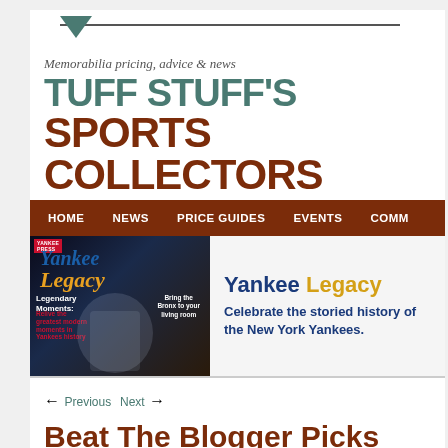[Figure (screenshot): Website header screenshot of Tuff Stuff's Sports Collectors website, showing tagline, title logo, navigation bar with HOME, NEWS, PRICE GUIDES, EVENTS, COMM, and a Yankee Legacy banner advertisement.]
← Previous  Next →
Beat The Blogger Picks